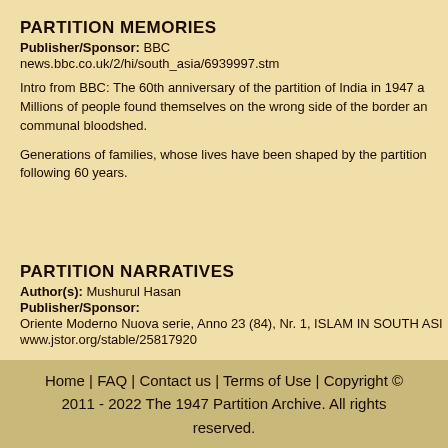PARTITION MEMORIES
Publisher/Sponsor: BBC
news.bbc.co.uk/2/hi/south_asia/6939997.stm
Intro from BBC: The 60th anniversary of the partition of India in 1947 a... Millions of people found themselves on the wrong side of the border an... communal bloodshed.
Generations of families, whose lives have been shaped by the partition... following 60 years.
PARTITION NARRATIVES
Author(s): Mushurul Hasan
Publisher/Sponsor:
Oriente Moderno Nuova serie, Anno 23 (84), Nr. 1, ISLAM IN SOUTH ASI...
www.jstor.org/stable/25817920
Home | FAQ | Contact us | Terms of Use | Copyright © 2011 - 2022 The 1947 Partition Archive. All rights reserved.